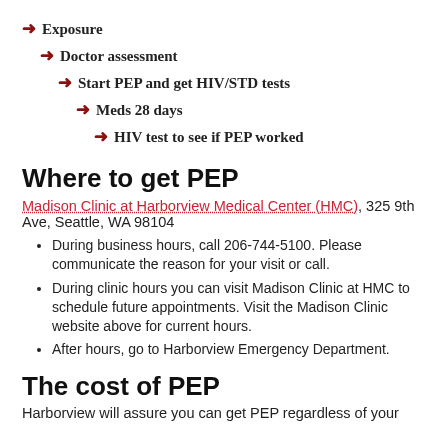→ Exposure
→ Doctor assessment
→ Start PEP and get HIV/STD tests
→ Meds 28 days
→ HIV test to see if PEP worked
Where to get PEP
Madison Clinic at Harborview Medical Center (HMC), 325 9th Ave, Seattle, WA 98104
During business hours, call 206-744-5100. Please communicate the reason for your visit or call.
During clinic hours you can visit Madison Clinic at HMC to schedule future appointments. Visit the Madison Clinic website above for current hours.
After hours, go to Harborview Emergency Department.
The cost of PEP
Harborview will assure you can get PEP regardless of your